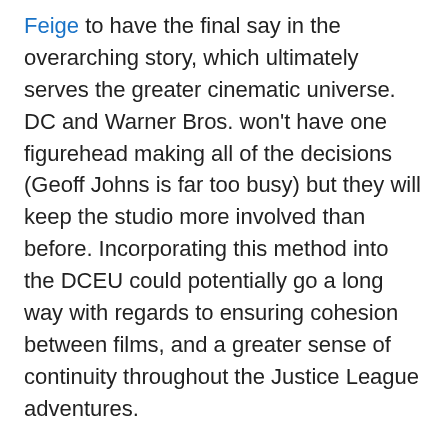Feige to have the final say in the overarching story, which ultimately serves the greater cinematic universe. DC and Warner Bros. won't have one figurehead making all of the decisions (Geoff Johns is far too busy) but they will keep the studio more involved than before. Incorporating this method into the DCEU could potentially go a long way with regards to ensuring cohesion between films, and a greater sense of continuity throughout the Justice League adventures.
Whatever Warner Bros. does to correct their current course, it must do it swiftly and decisively. Batman v Superman: Dawn of Justice represented one of the most highly anticipated movies of all time, and it experienced a nearly unprecedented box office drop off after only a week in theaters. Was the movie